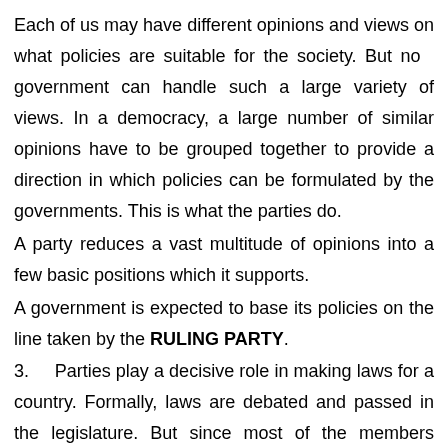Each of us may have different opinions and views on what policies are suitable for the society. But no government can handle such a large variety of views. In a democracy, a large number of similar opinions have to be grouped together to provide a direction in which policies can be formulated by the governments. This is what the parties do.
A party reduces a vast multitude of opinions into a few basic positions which it supports.
A government is expected to base its policies on the line taken by the RULING PARTY.
3.    Parties play a decisive role in making laws for a country. Formally, laws are debated and passed in the legislature. But since most of the members belong to a party, they go by the direction of the party leadership, irrespective of their personal opinions.
A party reduces a vast multitude of opinions...